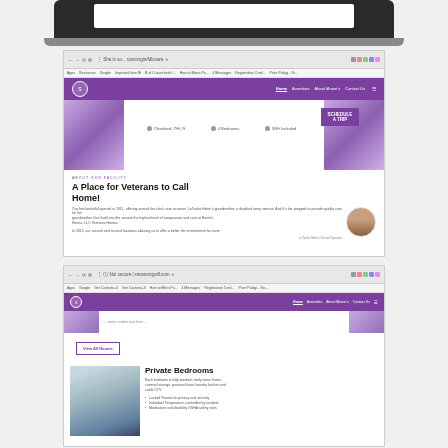[Figure (screenshot): Laptop computer showing a webpage for a veterans housing facility called 'A Place for Veterans to Call Home!' with purple and white design, navigation bar, and about section with owner photo]
[Figure (screenshot): Browser screenshot showing the lower portion of the same veterans housing website, with 'View All Rooms' button, a photo of a private bedroom, and 'Private Bedrooms' section with bullet points about amenities including Locked Rooms for privacy and security, Individual Temperature controlled by resident, and medication and disability compliance items]